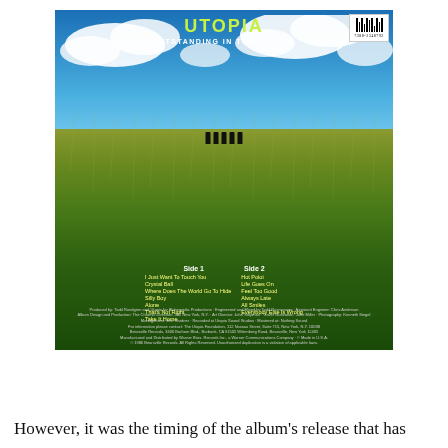[Figure (photo): Back cover of Utopia album 'Outstanding in Their Field' showing a field of tall green grass under a blue sky with clouds, band figures visible on the horizon, tracklist overlaid at bottom, and credits text at very bottom.]
However, it was the timing of the album's release that has